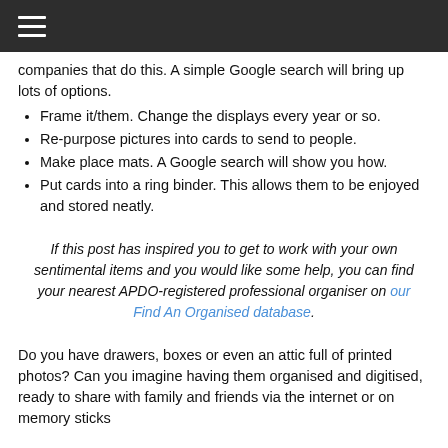☰
companies that do this. A simple Google search will bring up lots of options.
Frame it/them. Change the displays every year or so.
Re-purpose pictures into cards to send to people.
Make place mats. A Google search will show you how.
Put cards into a ring binder. This allows them to be enjoyed and stored neatly.
If this post has inspired you to get to work with your own sentimental items and you would like some help, you can find your nearest APDO-registered professional organiser on our Find An Organised database.
Do you have drawers, boxes or even an attic full of printed photos? Can you imagine having them organised and digitised, ready to share with family and friends via the internet or on memory sticks